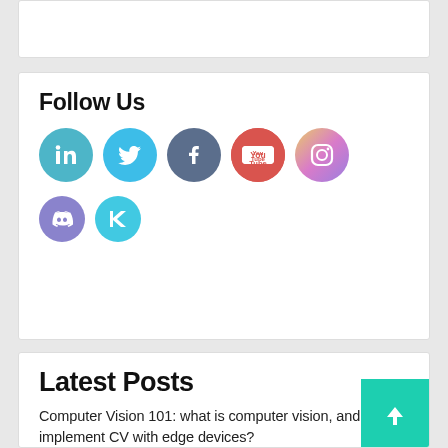[Figure (other): Top white card partial (cropped content area)]
Follow Us
[Figure (infographic): Social media icons: LinkedIn, Twitter, Facebook, YouTube, Instagram, Discord, Hackernoon]
Latest Posts
Computer Vision 101: what is computer vision, and how to implement CV with edge devices?
Using Grafana for real-time AI-powered microscopy image analysis at the edge